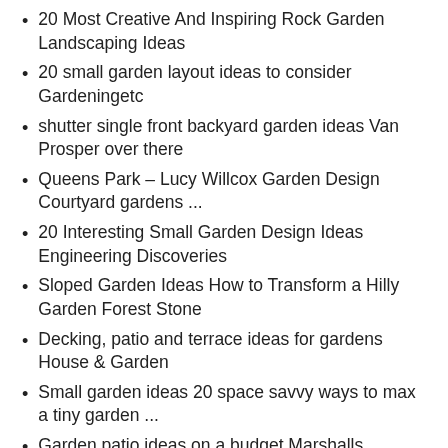20 Most Creative And Inspiring Rock Garden Landscaping Ideas
20 small garden layout ideas to consider Gardeningetc
shutter single front backyard garden ideas Van Prosper over there
Queens Park – Lucy Willcox Garden Design Courtyard gardens ...
20 Interesting Small Garden Design Ideas Engineering Discoveries
Sloped Garden Ideas How to Transform a Hilly Garden Forest Stone
Decking, patio and terrace ideas for gardens House & Garden
Small garden ideas 20 space savvy ways to max a tiny garden ...
Garden patio ideas on a budget Marshalls
Garden patio ideas on a budget Marshalls